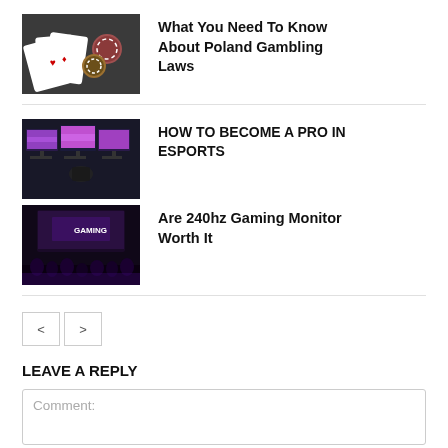[Figure (photo): Playing cards and poker chips on dark surface]
What You Need To Know About Poland Gambling Laws
[Figure (photo): Gaming monitors with colorful screens in dark room]
HOW TO BECOME A PRO IN ESPORTS
[Figure (photo): Gaming event stage with purple lighting and audience silhouettes]
Are 240hz Gaming Monitor Worth It
< >
LEAVE A REPLY
Comment: